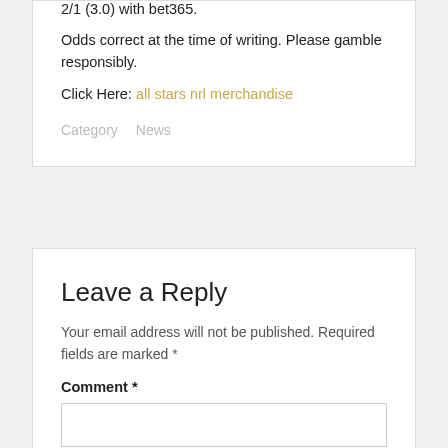2/1 (3.0) with bet365.
Odds correct at the time of writing. Please gamble responsibly.
Click Here: all stars nrl merchandise
Category   News
Leave a Reply
Your email address will not be published. Required fields are marked *
Comment *